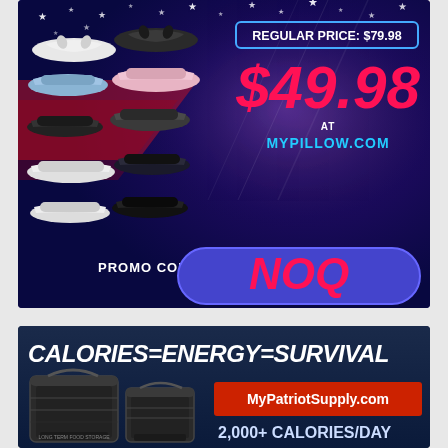[Figure (infographic): MyPillow sandal advertisement on dark blue patriotic background with stars. Shows multiple sandal styles (flip-flops and slides) in white, blue, pink, and black. Price shown: Regular Price $79.98, Sale Price $49.98 at mypillow.com. Promo code NOQ shown in blue rounded rectangle.]
[Figure (infographic): MyPatriotSupply advertisement with dark navy background. Text reads CALORIES=ENERGY=SURVIVAL. Shows black storage buckets/containers. Website MyPatriotSupply.com shown in red box. Text 2,000+ CALORIES/DAY visible at bottom.]